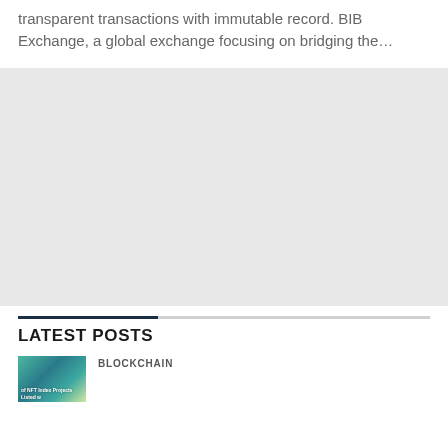transparent transactions with immutable record. BIB Exchange, a global exchange focusing on bridging the…
[Figure (other): Advertisement or placeholder block with light gray background]
LATEST POSTS
[Figure (screenshot): Thumbnail image for an article about NFT Index Projects Listed]
BLOCKCHAIN